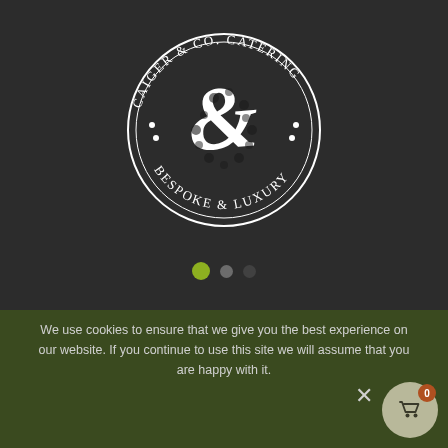[Figure (logo): Circular logo for Caiger & Co. Catering - Bespoke & Luxury, featuring a decorative ampersand (&) in the center surrounded by circular text and dots]
We use cookies to ensure that we give you the best experience on our website. If you continue to use this site we will assume that you are happy with it.